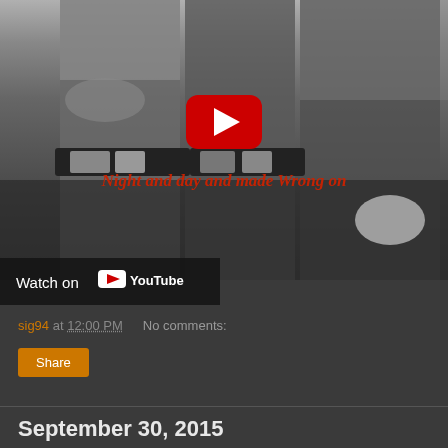[Figure (screenshot): YouTube video embed thumbnail showing black and white photo of people wearing cowboy belts and jeans, with a red YouTube play button in the center, overlay text 'Night and day and made Wrong on' in red italic, and a 'Watch on YouTube' bar at the bottom left.]
sig94 at 12:00 PM    No comments:
Share
September 30, 2015